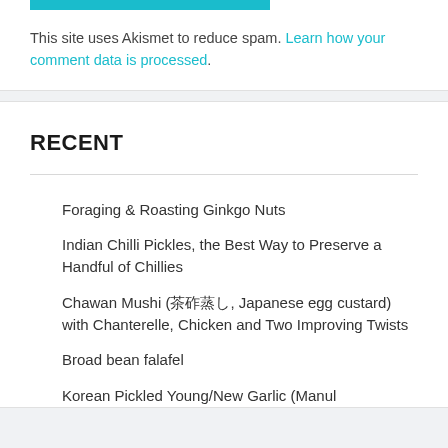This site uses Akismet to reduce spam. Learn how your comment data is processed.
RECENT
Foraging & Roasting Ginkgo Nuts
Indian Chilli Pickles, the Best Way to Preserve a Handful of Chillies
Chawan Mushi (茶碗蒸し, Japanese egg custard) with Chanterelle, Chicken and Two Improving Twists
Broad bean falafel
Korean Pickled Young/New Garlic (Manul